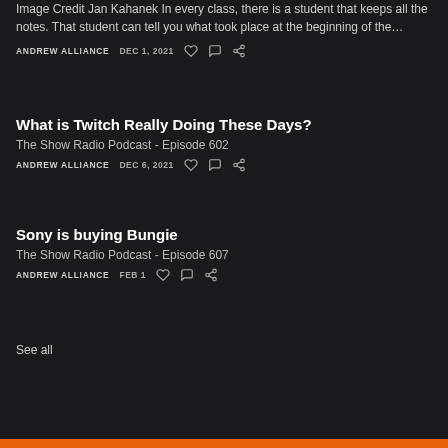Image Credit Jan Kahanek In every class, there is a student that keeps all the notes. That student can tell you what took place at the beginning of the…
ANDREW ALLIANCE   DEC 1, 2021
What is Twitch Really Doing These Days?
The Show Radio Podcast - Episode 602
ANDREW ALLIANCE   DEC 6, 2021
Sony is buying Bungie
The Show Radio Podcast - Episode 607
ANDREW ALLIANCE   FEB 1
See all